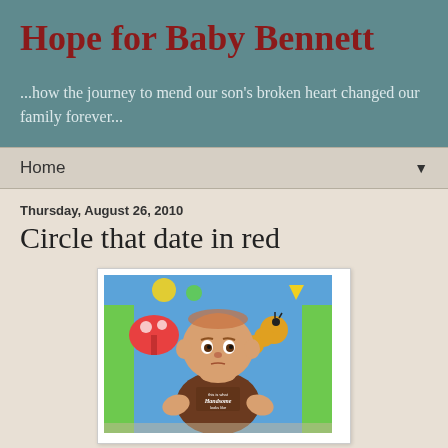Hope for Baby Bennett
...how the journey to mend our son's broken heart changed our family forever...
Home ▼
Thursday, August 26, 2010
Circle that date in red
[Figure (photo): A baby wearing a brown onesie that reads 'this is what Handsome looks like', lying in a colorful bouncy seat with cartoon bug designs]